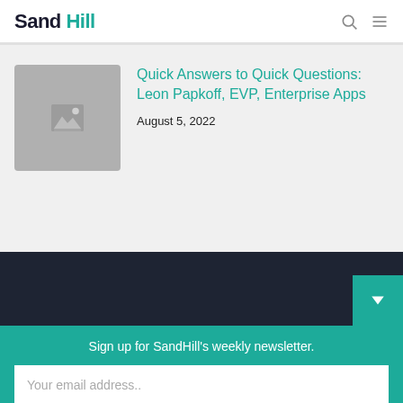Sand Hill
Quick Answers to Quick Questions: Leon Papkoff, EVP, Enterprise Apps
August 5, 2022
[Figure (photo): Placeholder image thumbnail with mountain/landscape icon]
Sign up for SandHill's weekly newsletter.
Your email address..
Subscribe